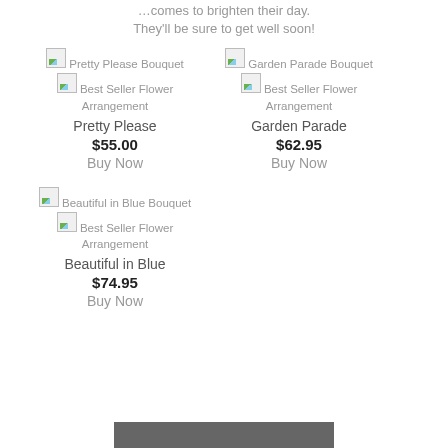…, comes to brighten their day. They'll be sure to get well soon!
[Figure (photo): Pretty Please Bouquet product image placeholder]
[Figure (photo): Best Seller Flower Arrangement badge for Pretty Please Bouquet]
Pretty Please
$55.00
Buy Now
[Figure (photo): Garden Parade Bouquet product image placeholder]
[Figure (photo): Best Seller Flower Arrangement badge for Garden Parade Bouquet]
Garden Parade
$62.95
Buy Now
[Figure (photo): Beautiful in Blue Bouquet product image placeholder]
[Figure (photo): Best Seller Flower Arrangement badge for Beautiful in Blue Bouquet]
Beautiful in Blue
$74.95
Buy Now